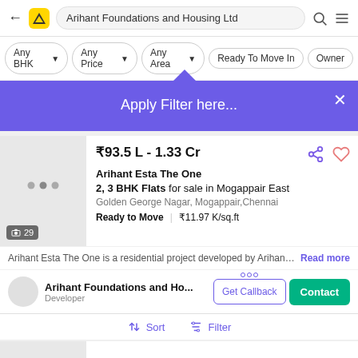Arihant Foundations and Housing Ltd
Any BHK
Any Price
Any Area
Ready To Move In
Owner
Apply Filter here...
₹93.5 L - 1.33 Cr
Arihant Esta The One
2, 3 BHK Flats for sale in Mogappair East
Golden George Nagar, Mogappair,Chennai
Ready to Move  |  ₹11.97 K/sq.ft
Arihant Esta The One is a residential project developed by Arihant ...
Read more
Arihant Foundations and Ho...
Developer
Get Callback
Contact